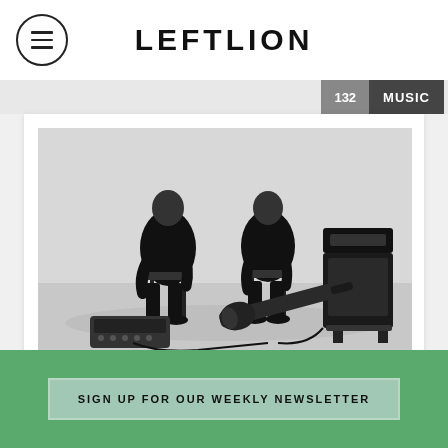LEFTLION
132 | MUSIC
[Figure (photo): Black and white photo of two musicians dressed in black sitting on stools in a white studio space, with a guitar on the floor, a synthesizer/keyboard unit, guitar cables, and a guitar amplifier stack in the background.]
Practical Lovers
SIGN UP FOR OUR WEEKLY NEWSLETTER